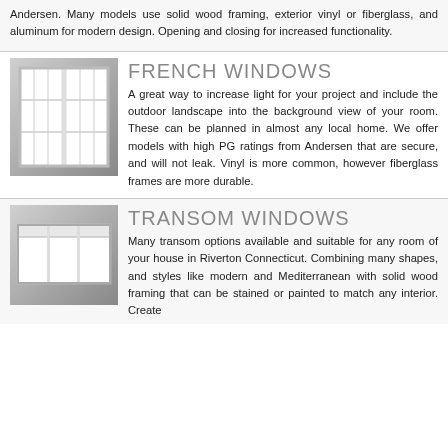Andersen. Many models use solid wood framing, exterior vinyl or fiberglass, and aluminum for modern design. Opening and closing for increased functionality.
[Figure (photo): French window with grid panes on gray background]
FRENCH WINDOWS
A great way to increase light for your project and include the outdoor landscape into the background view of your room. These can be planned in almost any local home. We offer models with high PG ratings from Andersen that are secure, and will not leak. Vinyl is more common, however fiberglass frames are more durable.
[Figure (photo): Transom window with three panes on gray background]
TRANSOM WINDOWS
Many transom options available and suitable for any room of your house in Riverton Connecticut. Combining many shapes, and styles like modern and Mediterranean with solid wood framing that can be stained or painted to match any interior. Create